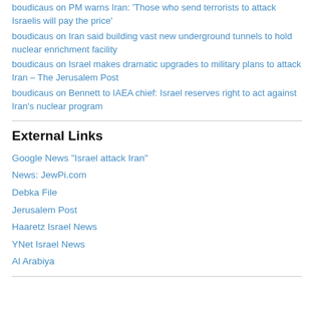boudicaus on PM warns Iran: 'Those who send terrorists to attack Israelis will pay the price'
boudicaus on Iran said building vast new underground tunnels to hold nuclear enrichment facility
boudicaus on Israel makes dramatic upgrades to military plans to attack Iran – The Jerusalem Post
boudicaus on Bennett to IAEA chief: Israel reserves right to act against Iran's nuclear program
External Links
Google News "Israel attack Iran"
News: JewPi.com
Debka File
Jerusalem Post
Haaretz Israel News
YNet Israel News
Al Arabiya